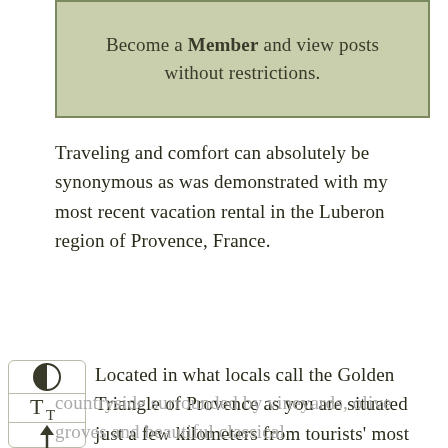Become a Member and view posts without restrictions.
Traveling and comfort can absolutely be synonymous as was demonstrated with my most recent vacation rental in the Luberon region of Provence, France.
Located in what locals call the Golden Triangle of Provence as you are situated just a few kilometers from tourists' most desired locations – Gordes, Menerbes, Bonnieux, Villa Dæsch is located in a hamlet out in the countryside surrounded by vineyards, olive groves and beautiful classical